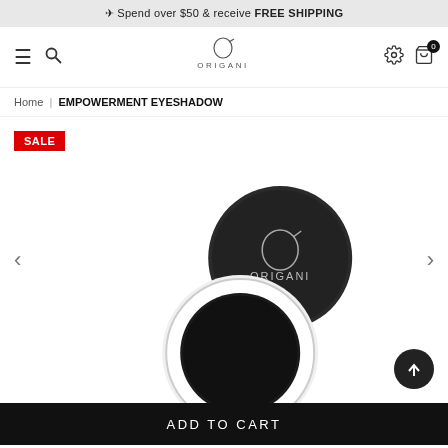Spend over $50 & receive FREE SHIPPING
[Figure (logo): Origani brand logo with stylized O symbol and ORIGANI text]
Home | EMPOWERMENT EYESHADOW
[Figure (photo): Two round Origani eyeshadow compacts - one showing the branded lid and one showing the dark eyeshadow pan. SALE badge in top left corner.]
ADD TO CART